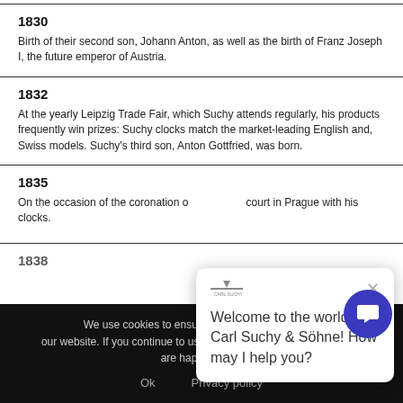1830
Birth of their second son, Johann Anton, as well as the birth of Franz Joseph I, the future emperor of Austria.
1832
At the yearly Leipzig Trade Fair, which Suchy attends regularly, his products frequently win prizes: Suchy clocks match the market-leading English and, Swiss models. Suchy's third son, Anton Gottfried, was born.
1835
On the occasion of the coronation of... court in Prague with his clocks.
1838
[Figure (screenshot): Chat popup: Welcome to the world of Carl Suchy & Söhne! How may I help you?]
We use cookies to ensure the best experience on our website. If you continue to use this site we will assume that you are happy with it.
Ok   Privacy policy